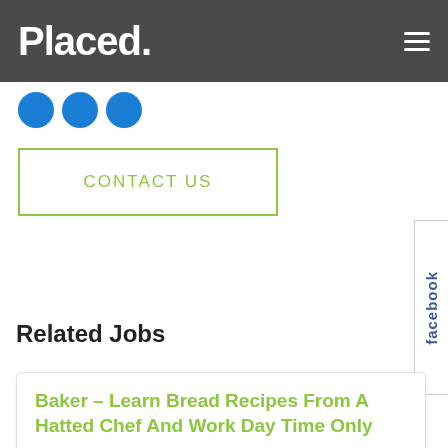Placed.
[Figure (illustration): Three blue social media icon circles partially visible]
CONTACT US
facebook
Related Jobs
Baker – Learn Bread Recipes From A Hatted Chef And Work Day Time Only
The Venue This property is brand new and is run by a well-known and award winning operator. The kitchen is also brand new